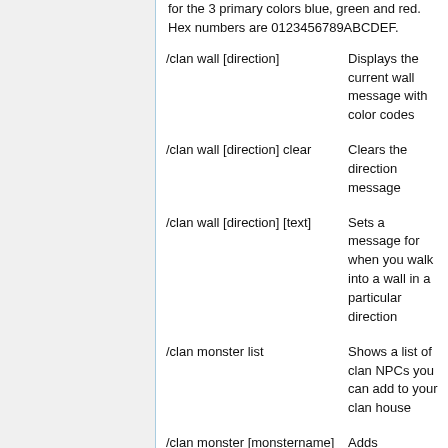for the 3 primary colors blue, green and red. Hex numbers are 0123456789ABCDEF.
| Command | Description |
| --- | --- |
| /clan wall [direction] | Displays the current wall message with color codes |
| /clan wall [direction] clear | Clears the direction message |
| /clan wall [direction] [text] | Sets a message for when you walk into a wall in a particular direction |
| /clan monster list | Shows a list of clan NPCs you can add to your clan house |
| /clan monster [monstername] | Adds [monstername] to the current square you are on, costs 50k |